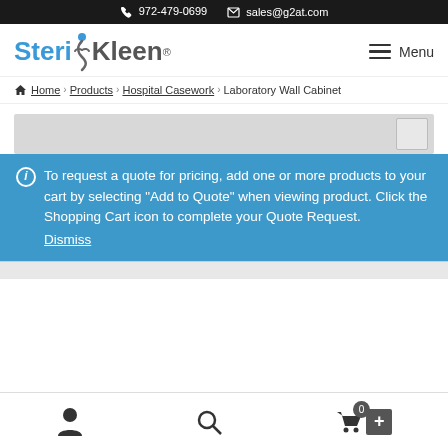972-479-0699  sales@g2at.com
[Figure (logo): SteriKleen logo with stylized figure between Steri and Kleen text]
Menu
Home > Products > Hospital Casework > Laboratory Wall Cabinet
[Figure (photo): Partial view of laboratory wall cabinet product image]
To request a quote for pricing, add one or more products to your cart by selecting "Add to Quote" when viewing product. Click the Shopping Cart icon to complete your Quote Request. Dismiss